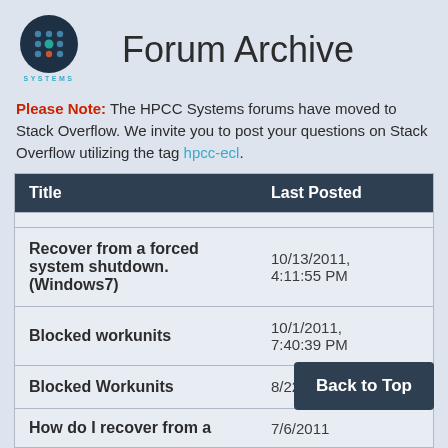[Figure (logo): HPCC Systems logo — dark blue circle with dots pattern and teal/red accents, text HPCC SYSTEMS below]
Forum Archive
Please Note: The HPCC Systems forums have moved to Stack Overflow. We invite you to post your questions on Stack Overflow utilizing the tag hpcc-ecl.
| Title | Last Posted |
| --- | --- |
| Recover from a forced system shutdown. (Windows7) | 10/13/2011, 4:11:55 PM |
| Blocked workunits | 10/1/2011, 7:40:39 PM |
| Blocked Workunits | 8/22/2011 |
| How do I recover from a | 7/6/2011 |